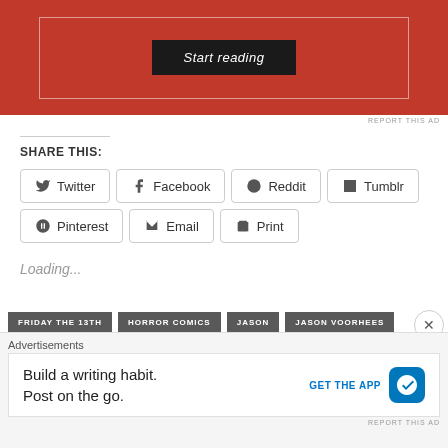[Figure (screenshot): Red advertisement banner with a dark 'Start reading' button inside a white-bordered rectangle]
REPORT THIS AD
SHARE THIS:
Twitter
Facebook
Reddit
Tumblr
Pinterest
Email
Print
Loading...
Advertisements
Build a writing habit.
Post on the go.
GET THE APP
REPORT THIS AD